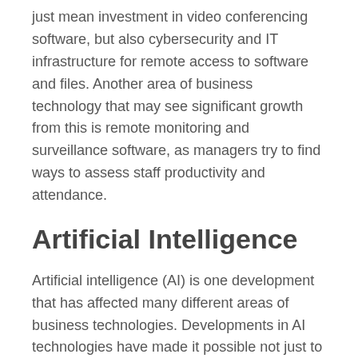just mean investment in video conferencing software, but also cybersecurity and IT infrastructure for remote access to software and files. Another area of business technology that may see significant growth from this is remote monitoring and surveillance software, as managers try to find ways to assess staff productivity and attendance.
Artificial Intelligence
Artificial intelligence (AI) is one development that has affected many different areas of business technologies. Developments in AI technologies have made it possible not just to automate basic manufacturing tasks, but also to outsource image recognition-based tasks, including those for medical diagnosis and driverless vehicles. AI has already